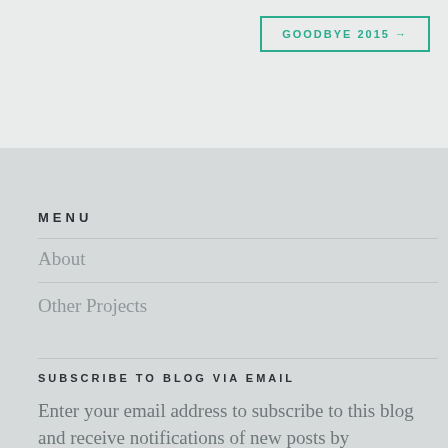GOODBYE 2015 →
MENU
About
Other Projects
SUBSCRIBE TO BLOG VIA EMAIL
Enter your email address to subscribe to this blog and receive notifications of new posts by